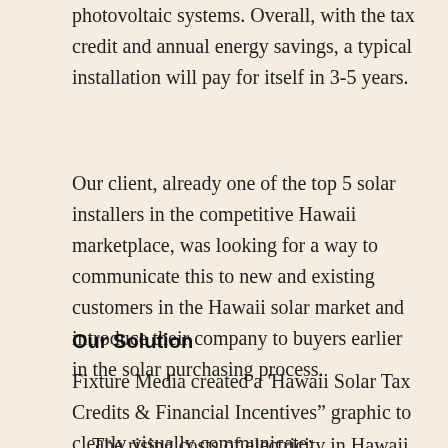photovoltaic systems. Overall, with the tax credit and annual energy savings, a typical installation will pay for itself in 3-5 years.
Our client, already one of the top 5 solar installers in the competitive Hawaii marketplace, was looking for a way to communicate this to new and existing customers in the Hawaii solar market and introduce their company to buyers earlier in the solar purchasing process.
Our Solution
Fixture Media created a ‘Hawaii Solar Tax Credits & Financial Incentives” graphic to clearly visually communicate:
The rising costs of electricity in Hawaii